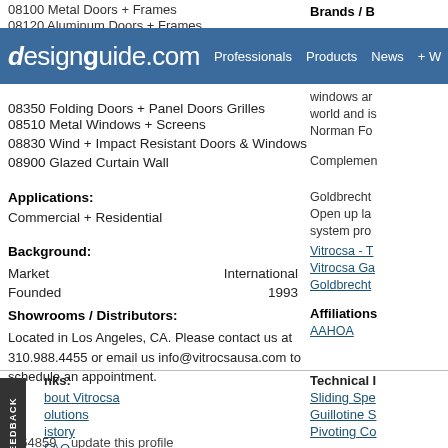08100 Metal Doors + Frames
08120 Aluminum Doors + Frames
designguide.com  Professionals  Products  News  + W
08350 Folding Doors + Panel Doors Grilles
08510 Metal Windows + Screens
08830 Wind + Impact Resistant Doors & Windows
08900 Glazed Curtain Wall
Applications:
Commercial + Residential
Background:
|  |  |
| --- | --- |
| Market | International |
| Founded | 1993 |
Showrooms / Distributors:
Located in Los Angeles, CA. Please contact us at 310.988.4455 or email us info@vitrocsausa.com to schedule an appointment.
Brands / B
windows ar
world and is
Norman Fo
Complemen
Goldbrecht
Open up la
system pro
Vitrocsa - T
Vitrocsa Ga
Goldbrecht
Affiliations
AAHOA
nks:
bout Vitrocsa
olutions
istory
FAQ
Technical I
Sliding Spe
Guillotine S
Pivoting Co
Options - F
S 64859    update this profile